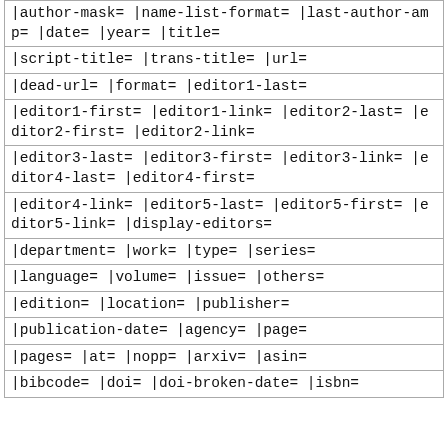| |author-mask= |name-list-format= |last-author-amp= |date= |year= |title= |
| |script-title= |trans-title= |url= |
| |dead-url= |format= |editor1-last= |
| |editor1-first= |editor1-link= |editor2-last= |editor2-first= |editor2-link= |
| |editor3-last= |editor3-first= |editor3-link= |editor4-last= |editor4-first= |
| |editor4-link= |editor5-last= |editor5-first= |editor5-link= |display-editors= |
| |department= |work= |type= |series= |
| |language= |volume= |issue= |others= |
| |edition= |location= |publisher= |
| |publication-date= |agency= |page= |
| |pages= |at= |nopp= |arxiv= |asin= |
| |bibcode= |doi= |doi-broken-date= |isbn= |